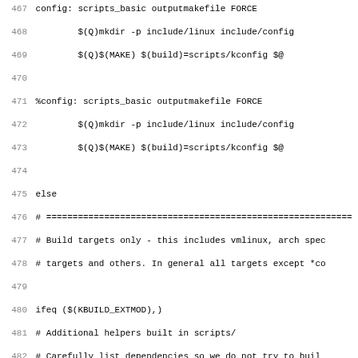Source code / Makefile snippet, lines 467-498